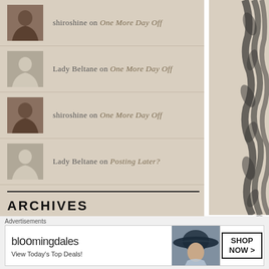shiroshine on One More Day Off
Lady Beltane on One More Day Off
shiroshine on One More Day Off
Lady Beltane on Posting Later?
ARCHIVES
February 2013
RECENT POSTS
Advertisements
[Figure (screenshot): Bloomingdale's advertisement banner showing 'View Today's Top Deals!' with a woman in a wide-brim hat and a 'SHOP NOW >' button]